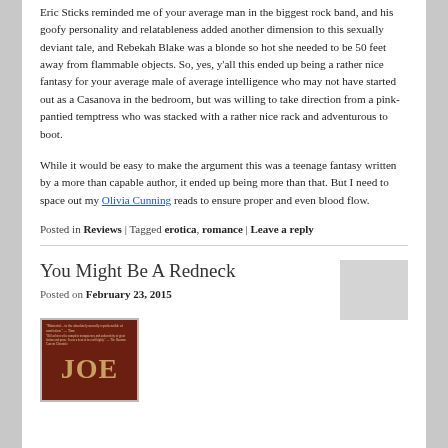Eric Sticks reminded me of your average man in the biggest rock band, and his goofy personality and relatableness added another dimension to this sexually deviant tale, and Rebekah Blake was a blonde so hot she needed to be 50 feet away from flammable objects. So, yes, y'all this ended up being a rather nice fantasy for your average male of average intelligence who may not have started out as a Casanova in the bedroom, but was willing to take direction from a pink-pantied temptress who was stacked with a rather nice rack and adventurous to boot.
While it would be easy to make the argument this was a teenage fantasy written by a more than capable author, it ended up being more than that. But I need to space out my Olivia Cunning reads to ensure proper and even blood flow.
Posted in Reviews | Tagged erotica, romance | Leave a reply
You Might Be A Redneck
Posted on February 23, 2015
[Figure (photo): Book cover thumbnail with dark red/brown background and large letters 'JOE' visible at bottom]